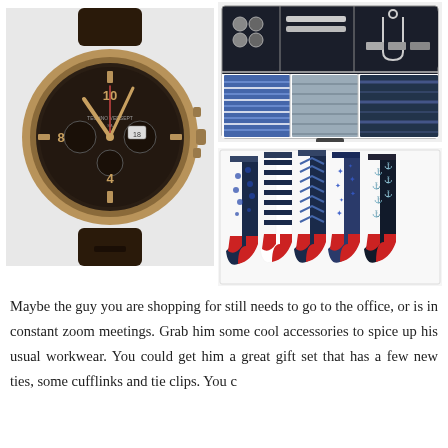[Figure (photo): A brown leather strap chronograph watch with a dark brown/gold dial, rose gold case, showing time around 10:10 with subdials.]
[Figure (photo): A gift box set containing ties (blue striped and grey), cufflinks, tie clips, and a tie bar arranged in compartments.]
[Figure (photo): Five pairs of navy/dark blue men's socks with various patterns: polka dots, stripes, chevron, and anchor/star patterns, all with red heel/toe accents.]
Maybe the guy you are shopping for still needs to go to the office, or is in constant zoom meetings. Grab him some cool accessories to spice up his usual workwear. You could get him a great gift set that has a few new ties, some cufflinks and tie clips. You c